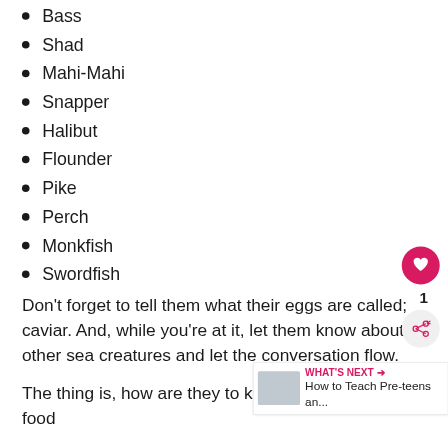Bass
Shad
Mahi-Mahi
Snapper
Halibut
Flounder
Pike
Perch
Monkfish
Swordfish
Don't forget to tell them what their eggs are called; caviar. And, while you're at it, let them know about other sea creatures and let the conversation flow.
The thing is, how are they to know not to accept a food